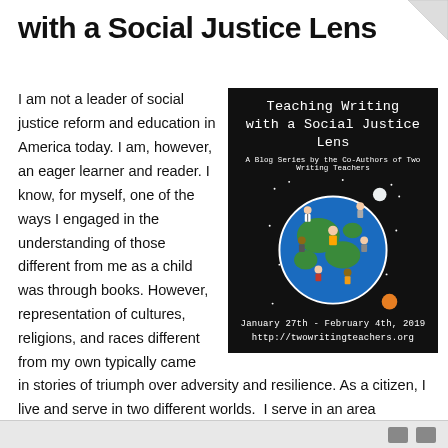with a Social Justice Lens
I am not a leader of social justice reform and education in America today. I am, however, an eager learner and reader. I know, for myself, one of the ways I engaged in the understanding of those different from me as a child was through books. However, representation of cultures, religions, and races different from my own typically came
[Figure (illustration): Black background poster titled 'Teaching Writing with a Social Justice Lens - A Blog Series by the Co-Authors of Two Writing Teachers' with an illustrated globe showing diverse people standing on it. Dates: January 27th - February 4th, 2019. URL: http://twowritingteachers.org]
in stories of triumph over adversity and resilience. As a citizen, I live and serve in two different worlds.  I serve in an area appealing to an empathetic idea through food drives and penny